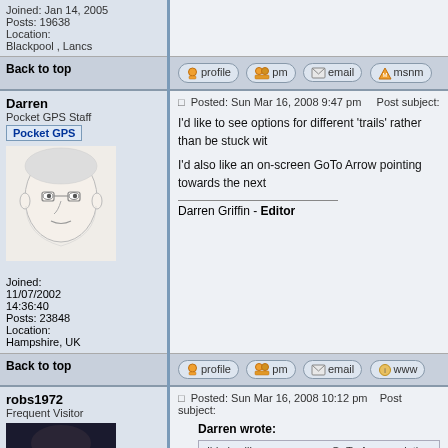Joined: Jan 14, 2005
Posts: 19638
Location: Blackpool , Lancs
Back to top | profile | pm | email | msnm
Darren
Pocket GPS Staff
Pocket GPS
Joined: 11/07/2002 14:36:40
Posts: 23848
Location: Hampshire, UK
Posted: Sun Mar 16, 2008 9:47 pm   Post subject:
I'd like to see options for different 'trails' rather than be stuck wit...
I'd also like an on-screen GoTo Arrow pointing towards the next...
Darren Griffin - Editor
Back to top | profile | pm | email | www
robs1972
Frequent Visitor
Posted: Sun Mar 16, 2008 10:12 pm   Post subject:
Darren wrote:
I'd also like an on-screen GoTo Arrow pointing towards the n...